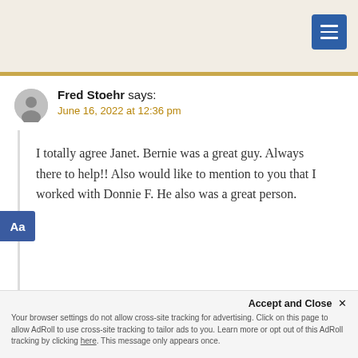Fred Stoehr says:
June 16, 2022 at 12:36 pm
I totally agree Janet. Bernie was a great guy. Always there to help!! Also would like to mention to you that I worked with Donnie F. He also was a great person.
Reply
Accept and Close ✕
Your browser settings do not allow cross-site tracking for advertising. Click on this page to allow AdRoll to use cross-site tracking to tailor ads to you. Learn more or opt out of this AdRoll tracking by clicking here. This message only appears once.